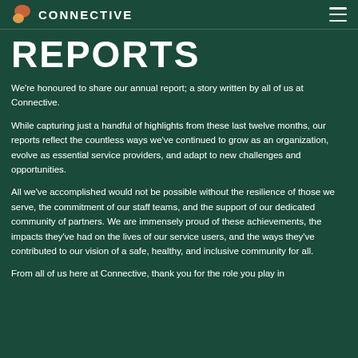CONNECTIVE
REPORTS
We're honoured to share our annual report; a story written by all of us at Connective.
While capturing just a handful of highlights from these last twelve months, our reports reflect the countless ways we've continued to grow as an organization, evolve as essential service providers, and adapt to new challenges and opportunities.
All we've accomplished would not be possible without the resilience of those we serve, the commitment of our staff teams, and the support of our dedicated community of partners. We are immensely proud of these achievements, the impacts they've had on the lives of our service users, and the ways they've contributed to our vision of a safe, healthy, and inclusive community for all.
From all of us here at Connective, thank you for the role you play in